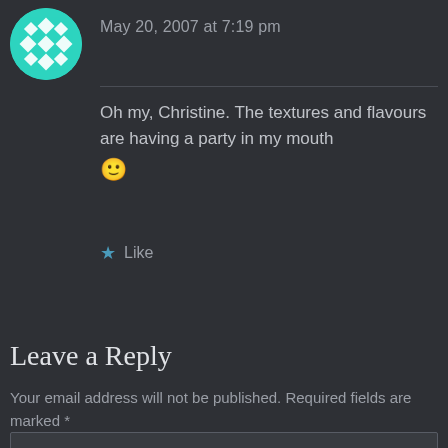[Figure (illustration): Circular teal avatar with a geometric quilt-like star pattern in white]
May 20, 2007 at 7:19 pm
Oh my, Christine. The textures and flavours are having a party in my mouth 🙂
★ Like
Leave a Reply
Your email address will not be published. Required fields are marked *
COMMENT *